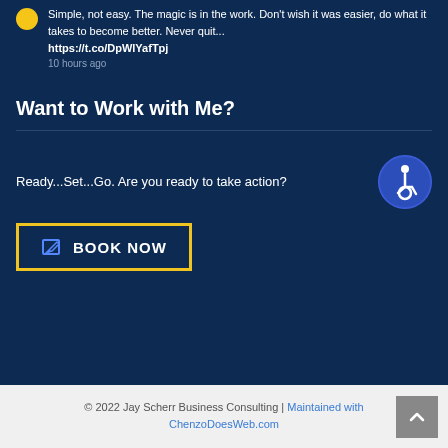Simple, not easy. The magic is in the work. Don't wish it was easier, do what it takes to become better. Never quit... https://t.co/DpWlYafTpj
10 hours ago
Want to Work with Me?
Ready...Set...Go. Are you ready to take action?
BOOK NOW
© 2022 Jay Scherr Business Consulting | Maintained with ChenzoDoesWeb.com